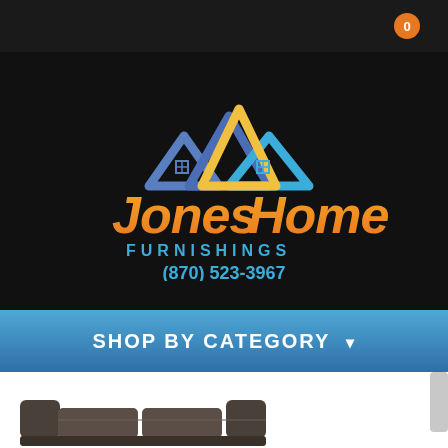[Figure (logo): Jones Home Furnishings logo with house/rooftop icon in blue and yellow/orange gradient, company name in orange gradient, subtitle FURNISHINGS in blue, phone number (870) 523-3967 in blue, all on black background]
SHOP BY CATEGORY ▾
[Figure (photo): Partial view of a dark brown leather sofa/couch at the bottom of the page]